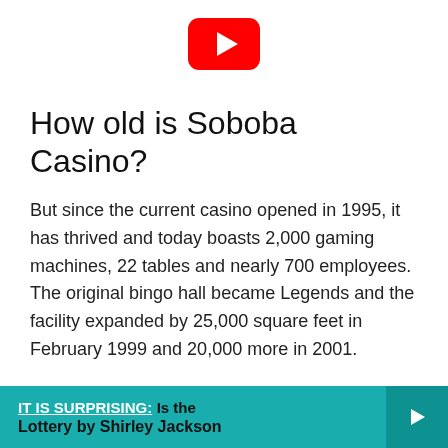[Figure (logo): YouTube logo — red rounded rectangle with white play triangle]
How old is Soboba Casino?
But since the current casino opened in 1995, it has thrived and today boasts 2,000 gaming machines, 22 tables and nearly 700 employees. The original bingo hall became Legends and the facility expanded by 25,000 square feet in February 1999 and 20,000 more in 2001.
IT IS SURPRISING:  Is the Lottery by Shirley Jackson